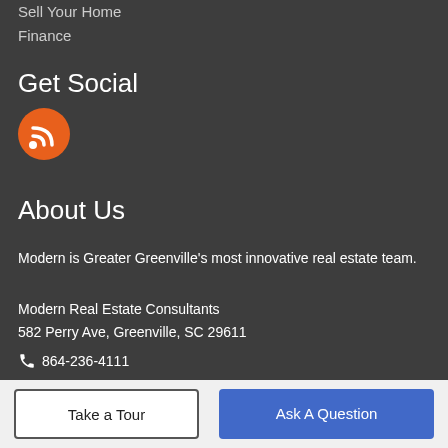Sell Your Home
Finance
Get Social
[Figure (other): Orange circle with RSS feed icon (white wifi-style signal symbol)]
About Us
Modern is Greater Greenville's most innovative real estate team.
Modern Real Estate Consultants
582 Perry Ave, Greenville, SC 29611
📞 864-236-4111
© 2022 Greater Greenville Association of Realtors Multiple Listing Service. All rights reserved. DMCA
Take a Tour
Ask A Question